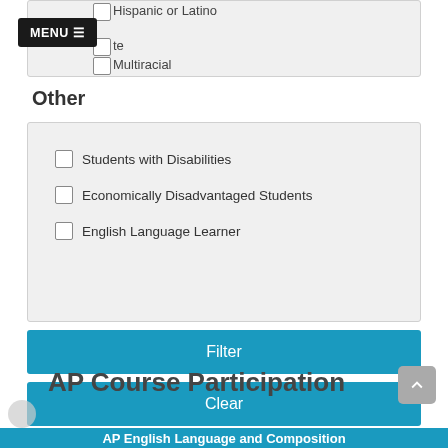Hispanic or Latino
White
Multiracial
Other
Students with Disabilities
Economically Disadvantaged Students
English Language Learner
Filter
Clear
AP Course Participation
AP English Language and Composition